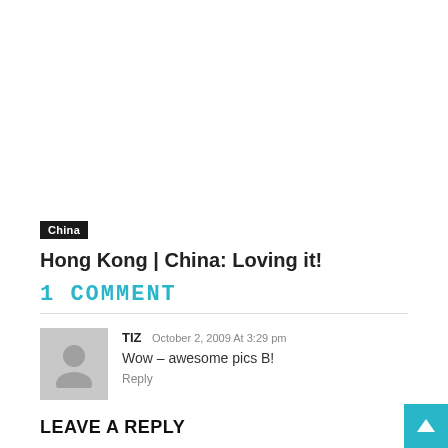China
Hong Kong | China: Loving it!
1 COMMENT
TIZ October 2, 2009 At 3:29 pm
Wow – awesome pics B!
Reply
LEAVE A REPLY